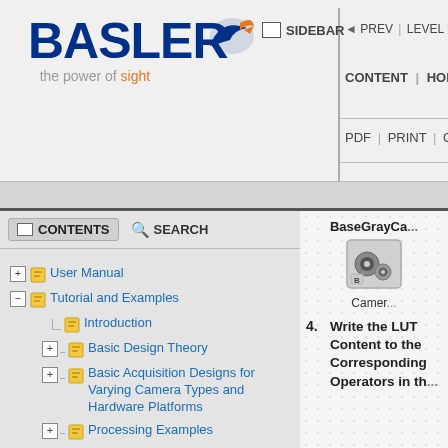SIDEBAR | PREV | LEVEL UP | NEXT | CONTENT | HOME | PDF | PRINT | CONTACT US
[Figure (logo): Basler logo with bird/arrow icon and tagline 'the power of sight']
User Manual
Tutorial and Examples
Introduction
Basic Design Theory
Basic Acquisition Designs for Varying Camera Types and Hardware Platforms
Processing Examples
Parameter Library Examples
Using Applets During Runtime
Filling LUT with Content With the Basler Framegrabber API
Operator Reference
Appendix. Device Resources
Glossary
BaseGrayCa...
[Figure (screenshot): Camera applet icon/thumbnail]
Camer...
4.  Write the LUT Content to the Corresponding Operators in th...